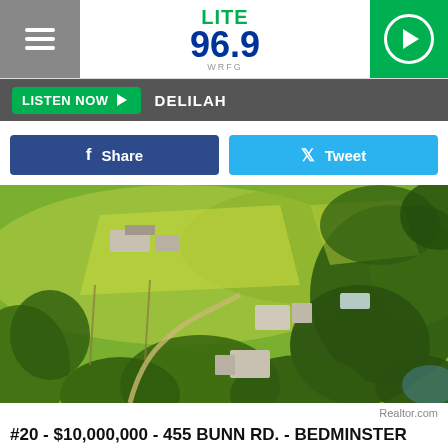LITE 96.9 WRFG
LISTEN NOW ▶  DELILAH
f Share   Tweet
[Figure (photo): Aerial drone photograph of a large rural estate property in Bedminster Township showing green fields, a winding driveway, farm buildings, dense trees, and multiple structures on a sunny day.]
Realtor.com
#20 - $10,000,000 - 455 BUNN RD. - BEDMINSTER TWP.